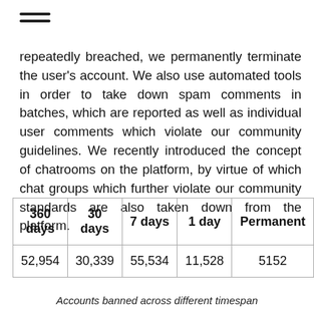≡
repeatedly breached, we permanently terminate the user's account. We also use automated tools in order to take down spam comments in batches, which are reported as well as individual user comments which violate our community guidelines. We recently introduced the concept of chatrooms on the platform, by virtue of which chat groups which further violate our community standards are also taken down from the platform.
| 360 days | 30 days | 7 days | 1 day | Permanent |
| --- | --- | --- | --- | --- |
| 52,954 | 30,339 | 55,534 | 11,528 | 5152 |
Accounts banned across different timespan